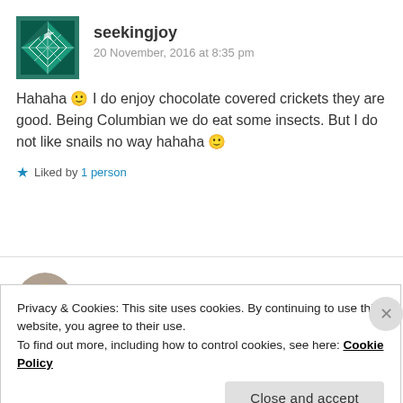[Figure (illustration): Geometric teal/dark teal patterned square avatar for user seekingjoy]
seekingjoy
20 November, 2016 at 8:35 pm
Hahaha 🙂 I do enjoy chocolate covered crickets they are good. Being Columbian we do eat some insects. But I do not like snails no way hahaha 🙂
★ Liked by 1 person
[Figure (photo): Round avatar photo of El Coleccionista Hipnótico user]
El Coleccionista Hipnótico
Privacy & Cookies: This site uses cookies. By continuing to use this website, you agree to their use.
To find out more, including how to control cookies, see here: Cookie Policy
Close and accept